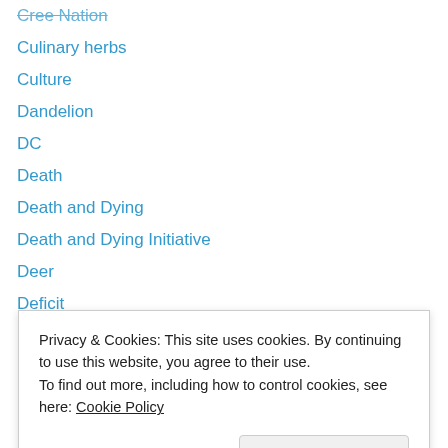Cree Nation
Culinary herbs
Culture
Dandelion
DC
Death
Death and Dying
Death and Dying Initiative
Deer
Deficit
Dennis Kucinich
Discover Wisconsin
Discover Wisconsin TV
DNA
Privacy & Cookies: This site uses cookies. By continuing to use this website, you agree to their use.
To find out more, including how to control cookies, see here: Cookie Policy
Dr. Masaru Emoto